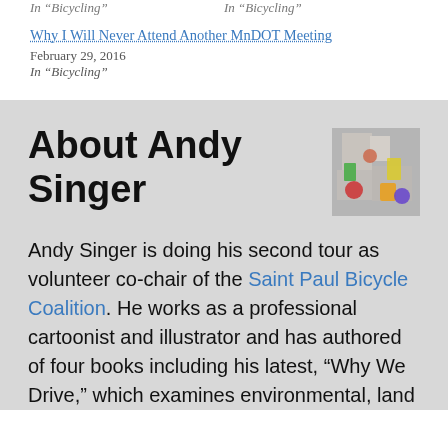In “Bicycling”    In “Bicycling”
Why I Will Never Attend Another MnDOT Meeting
February 29, 2016
In “Bicycling”
About Andy Singer
[Figure (photo): Small thumbnail photo of Andy Singer showing colorful toys or objects]
Andy Singer is doing his second tour as volunteer co-chair of the Saint Paul Bicycle Coalition. He works as a professional cartoonist and illustrator and has authored of four books including his latest, "Why We Drive," which examines environmental, land use and political issues in transportation. You can see more